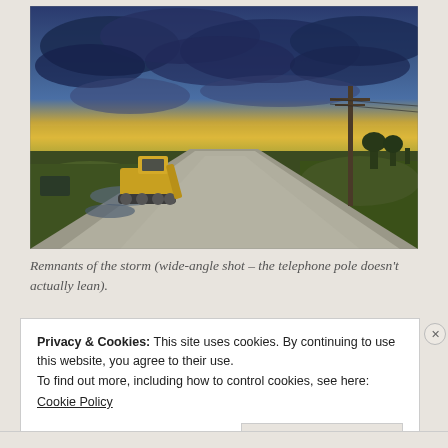[Figure (photo): Wide-angle outdoor photo of a gravel driveway or dirt road leading into the distance, with a dramatic stormy sky at dusk showing blue-grey clouds and yellow-orange light near the horizon. A yellow construction vehicle (bulldozer/backhoe) is parked to the left. A utility/telephone pole is visible on the right side. Green grass flanks the road. Puddles of water reflect the sky on the left side.]
Remnants of the storm (wide-angle shot – the telephone pole doesn't actually lean).
Privacy & Cookies: This site uses cookies. By continuing to use this website, you agree to their use.
To find out more, including how to control cookies, see here:
Cookie Policy
Close and accept